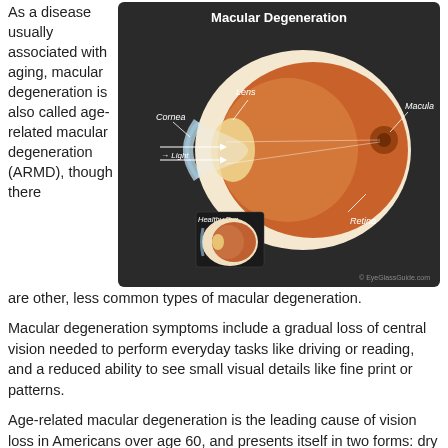As a disease usually associated with aging, macular degeneration is also called age-related macular degeneration (ARMD), though there are other, less common types of macular degeneration.
[Figure (illustration): Anatomical diagram of the eye showing macular degeneration. The main large diagram labels: Lens, Cornea, Light (arrow), Macula, Retina. A smaller inset shows a Healthy Eye for comparison. Title reads 'Macular Degeneration'. Copyright EyeGlassGuide.com.]
Macular degeneration symptoms include a gradual loss of central vision needed to perform everyday tasks like driving or reading, and a reduced ability to see small visual details like fine print or patterns.
Age-related macular degeneration is the leading cause of vision loss in Americans over age 60, and presents itself in two forms: dry macular degeneration and wet macular